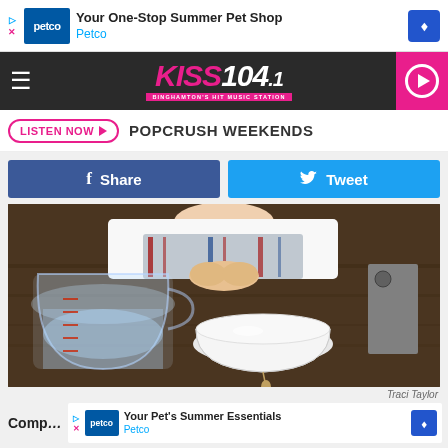[Figure (screenshot): Petco ad banner: Your One-Stop Summer Pet Shop]
[Figure (logo): KISS 104.1 Binghamton's Hit Music Station navigation bar with hamburger menu and pink play button]
LISTEN NOW ▶  POPCRUSH WEEKENDS
f  Share
🐦  Tweet
[Figure (photo): Child peering over a wooden table with a glass measuring cup of water and a white bowl, with a small object hanging below]
Traci Taylor
Comp…
[Figure (screenshot): Petco ad banner: Your Pet's Summer Essentials]